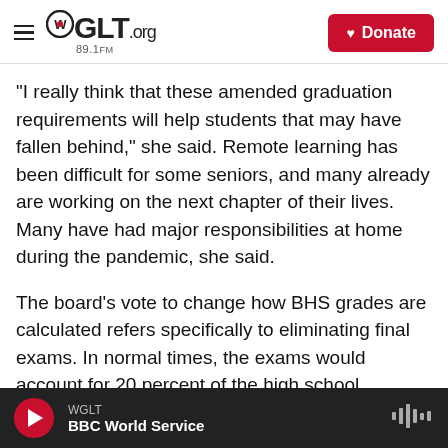WGLT.org 89.1FM | Donate
"I really think that these amended graduation requirements will help students that may have fallen behind," she said. Remote learning has been difficult for some seniors, and many already are working on the next chapter of their lives. Many have had major responsibilities at home during the pandemic, she said.
The board’s vote to change how BHS grades are calculated refers specifically to eliminating final exams. In normal times, the exams would account for 20 percent of the high school student's semester grade.
WGLT | BBC World Service